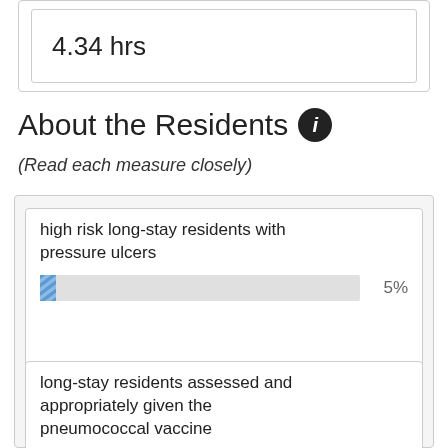4.34 hrs
About the Residents
(Read each measure closely)
[Figure (bar-chart): high risk long-stay residents with pressure ulcers]
[Figure (bar-chart): long-stay residents assessed and appropriately given the pneumococcal vaccine]